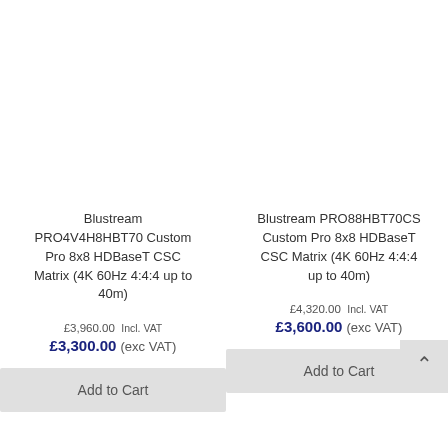Blustream PRO4V4H8HBT70 Custom Pro 8x8 HDBaseT CSC Matrix (4K 60Hz 4:4:4 up to 40m)
£3,960.00 (Incl. VAT) £3,300.00 (exc VAT)
Add to Cart
Blustream PRO88HBT70CS Custom Pro 8x8 HDBaseT CSC Matrix (4K 60Hz 4:4:4 up to 40m)
£4,320.00 (Incl. VAT) £3,600.00 (exc VAT)
Add to Cart